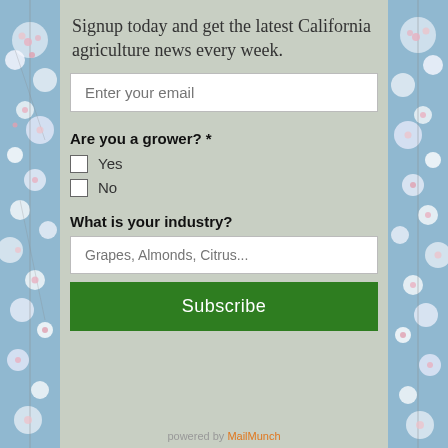Signup today and get the latest California agriculture news every week.
Enter your email
Are you a grower? *
Yes
No
What is your industry?
Grapes, Almonds, Citrus...
Subscribe
powered by MailMunch